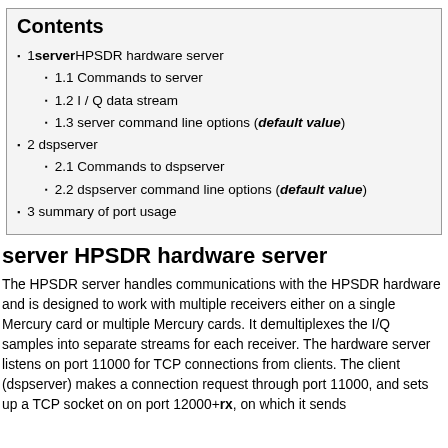Contents
1 server HPSDR hardware server
1.1 Commands to server
1.2 I / Q data stream
1.3 server command line options (default value)
2 dspserver
2.1 Commands to dspserver
2.2 dspserver command line options (default value)
3 summary of port usage
server HPSDR hardware server
The HPSDR server handles communications with the HPSDR hardware and is designed to work with multiple receivers either on a single Mercury card or multiple Mercury cards. It demultiplexes the I/Q samples into separate streams for each receiver. The hardware server listens on port 11000 for TCP connections from clients. The client (dspserver) makes a connection request through port 11000, and sets up a TCP socket on on port 12000+rx, on which it sends